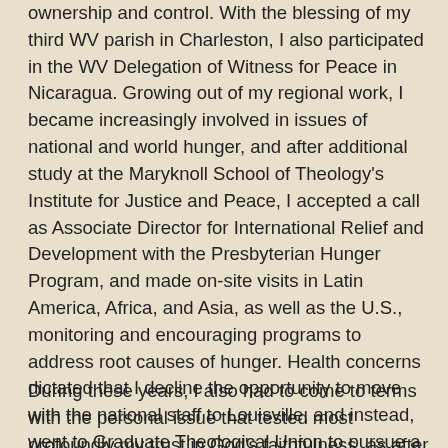ownership and control. With the blessing of my third WV parish in Charleston, I also participated in the WV Delegation of Witness for Peace in Nicaragua. Growing out of my regional work, I became increasingly involved in issues of national and world hunger, and after additional study at the Maryknoll School of Theology's Institute for Justice and Peace, I accepted a call as Associate Director for International Relief and Development with the Presbyterian Hunger Program, and made on-site visits in Latin America, Africa, and Asia, as well as the U.S., monitoring and encouraging programs to address root causes of hunger. Health concerns dictated that I decline the opportunity to move with the national staff to Louisville, and instead, went to Graduate Theological Union to pursue a Ph.D. In Berkeley, CA., in addition to teaching pastoral theology, ethics, and spirituality at two seminaries, a middle school and a graduate school, I participated in the support for migrant farm workers.
During these years, I also had to come to terms with the personal issue that tested most profoundly my trust in God's faithfulness, as after listening in counseling to numerous